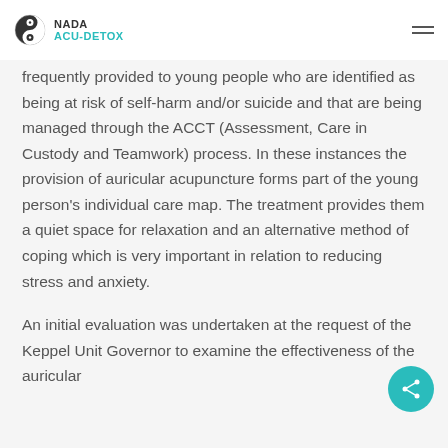NADA ACU-DETOX
frequently provided to young people who are identified as being at risk of self-harm and/or suicide and that are being managed through the ACCT (Assessment, Care in Custody and Teamwork) process. In these instances the provision of auricular acupuncture forms part of the young person's individual care map. The treatment provides them a quiet space for relaxation and an alternative method of coping which is very important in relation to reducing stress and anxiety.
An initial evaluation was undertaken at the request of the Keppel Unit Governor to examine the effectiveness of the auricular